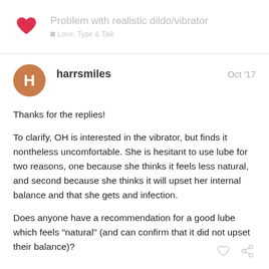Problem with realistic dildo/vibrator | Love, Type & Talk
harrsmiles
Oct '17
Thanks for the replies!
To clarify, OH is interested in the vibrator, but finds it nontheless uncomfortable. She is hesitant to use lube for two reasons, one because she thinks it feels less natural, and second because she thinks it will upset her internal balance and that she gets and infection.
Does anyone have a recommendation for a good lube which feels "natural" (and can confirm that it did not upset their balance)?